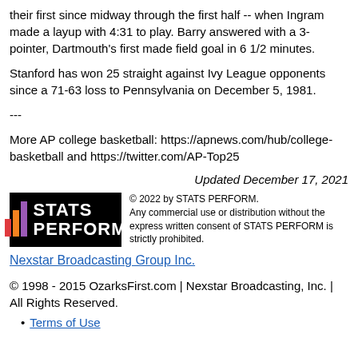their first since midway through the first half -- when Ingram made a layup with 4:31 to play. Barry answered with a 3-pointer, Dartmouth's first made field goal in 6 1/2 minutes.
Stanford has won 25 straight against Ivy League opponents since a 71-63 loss to Pennsylvania on December 5, 1981.
---
More AP college basketball: https://apnews.com/hub/college-basketball and https://twitter.com/AP-Top25
Updated December 17, 2021
[Figure (logo): STATS PERFORM logo — black background with colorful diagonal stripes and white bold text reading STATS PERFORM]
© 2022 by STATS PERFORM. Any commercial use or distribution without the express written consent of STATS PERFORM is strictly prohibited.
Nexstar Broadcasting Group Inc.
© 1998 - 2015 OzarksFirst.com | Nexstar Broadcasting, Inc. | All Rights Reserved.
Terms of Use